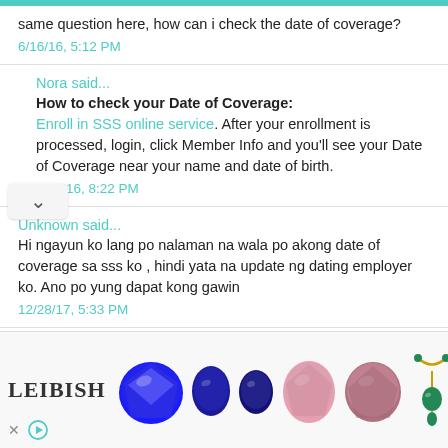same question here, how can i check the date of coverage?
6/16/16, 5:12 PM
Nora said...
How to check your Date of Coverage: Enroll in SSS online service. After your enrollment is processed, login, click Member Info and you'll see your Date of Coverage near your name and date of birth.
6/16/16, 8:22 PM
Unknown said...
Hi ngayun ko lang po nalaman na wala po akong date of coverage sa sss ko , hindi yata na update ng dating employer ko. Ano po yung dapat kong gawin
12/28/17, 5:33 PM
[Figure (other): LEIBISH jewelry advertisement banner showing colorful gemstones and a necklace]